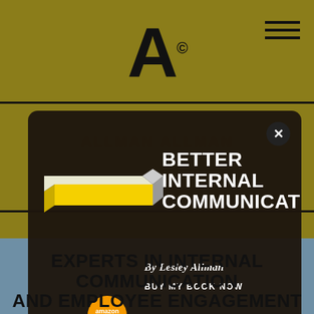A©
[Figure (screenshot): Website screenshot showing a popup modal advertisement for a book titled 'Better Internal Communication' by Lesley Allman, with a yellow book graphic and Amazon logo, overlaid on a gold/olive background website with hamburger menu and 'A' logo]
EXPERTS IN INTERNAL COMMUNICATION AND EMPLOYEE ENGAGEMENT